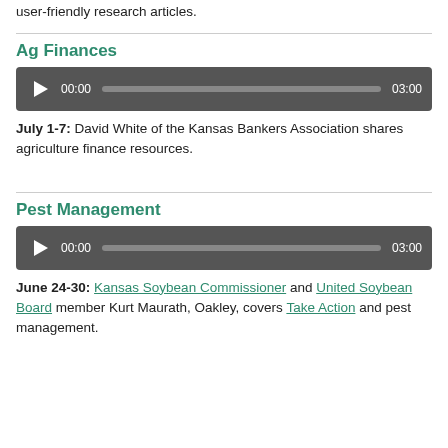user-friendly research articles.
Ag Finances
[Figure (other): Audio player showing 00:00 / 03:00 with progress bar]
July 1-7: David White of the Kansas Bankers Association shares agriculture finance resources.
Pest Management
[Figure (other): Audio player showing 00:00 / 03:00 with progress bar]
June 24-30: Kansas Soybean Commissioner and United Soybean Board member Kurt Maurath, Oakley, covers Take Action and pest management.